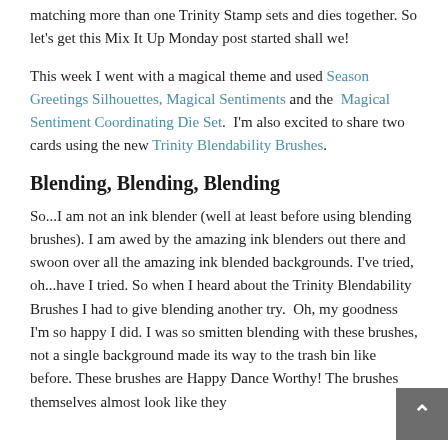matching more than one Trinity Stamp sets and dies together. So let's get this Mix It Up Monday post started shall we!
This week I went with a magical theme and used Season Greetings Silhouettes, Magical Sentiments and the Magical Sentiment Coordinating Die Set. I'm also excited to share two cards using the new Trinity Blendability Brushes.
Blending, Blending, Blending
So...I am not an ink blender (well at least before using blending brushes). I am awed by the amazing ink blenders out there and swoon over all the amazing ink blended backgrounds. I've tried, oh...have I tried. So when I heard about the Trinity Blendability Brushes I had to give blending another try. Oh, my goodness I'm so happy I did. I was so smitten blending with these brushes, not a single background made its way to the trash bin like before. These brushes are Happy Dance Worthy! The brushes themselves almost look like they